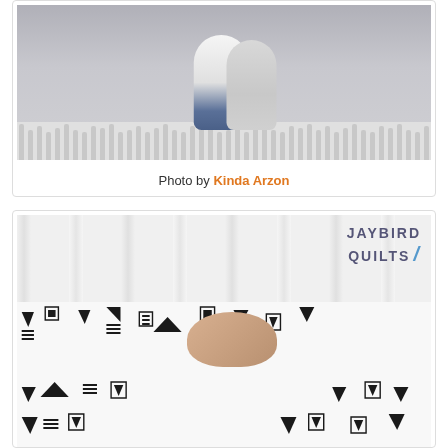[Figure (photo): A couple holding a newborn baby in front of a white crib in a nursery. The man wears a white t-shirt and jeans, the woman wears a grey cardigan.]
Photo by Kinda Arzon
[Figure (photo): A sleeping newborn baby lying in a white crib with a black and white geometric patterned crib sheet. The Jaybird Quilts logo is visible in the upper right corner.]